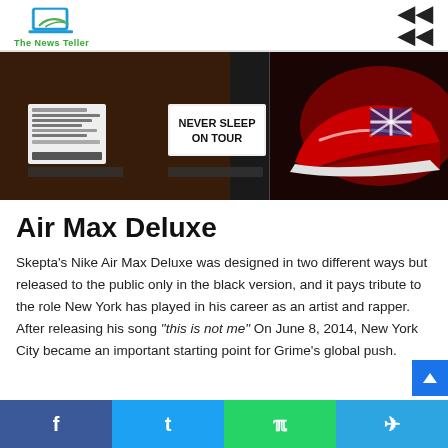The News Teller
[Figure (photo): Two-panel hero image: left panel shows product packaging/labels with text 'NEVER SLEEP ON TOUR'; right panel shows a red Nike sneaker (Air Max Deluxe) with a dark background]
Air Max Deluxe
Skepta's Nike Air Max Deluxe was designed in two different ways but released to the public only in the black version, and it pays tribute to the role New York has played in his career as an artist and rapper. After releasing his song “this is not me” On June 8, 2014, New York City became an important starting point for Grime’s global push.